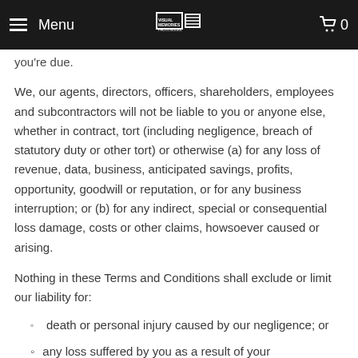Menu | Visual Memories Photo Books | 0
you're due.
We, our agents, directors, officers, shareholders, employees and subcontractors will not be liable to you or anyone else, whether in contract, tort (including negligence, breach of statutory duty or other tort) or otherwise (a) for any loss of revenue, data, business, anticipated savings, profits, opportunity, goodwill or reputation, or for any business interruption; or (b) for any indirect, special or consequential loss damage, costs or other claims, howsoever caused or arising.
Nothing in these Terms and Conditions shall exclude or limit our liability for:
death or personal injury caused by our negligence; or
any loss suffered by you as a result of your